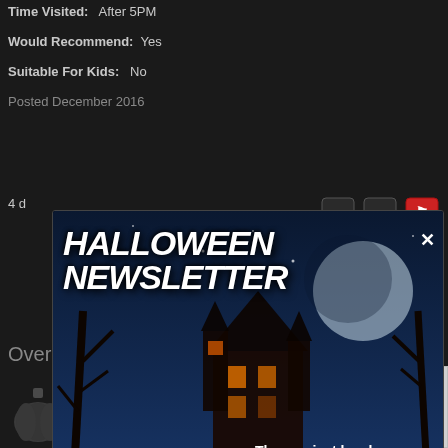Time Visited: After 5PM
Would Recommend: Yes
Suitable For Kids: No
Posted December 2016
[Figure (screenshot): Halloween Newsletter popup modal with jack-o-lantern pumpkin, haunted house, spooky night sky background. Title: HALLOWEEN NEWSLETTER with close X. Text: The scariest local attractions and Halloween news to your inbox all season long. Pennsylvania Edition. Email input field with Join button.]
Overall Rating:
CLICK TO RATE